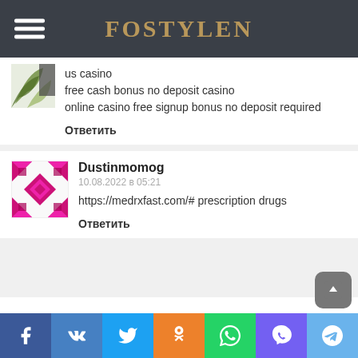FOSTYLEN
us casino
free cash bonus no deposit casino
online casino free signup bonus no deposit required
Ответить
Dustinmomog
10.08.2022 в 05:21
https://medrxfast.com/# prescription drugs
Ответить
Facebook VK Twitter Odnoklassniki WhatsApp Viber Telegram